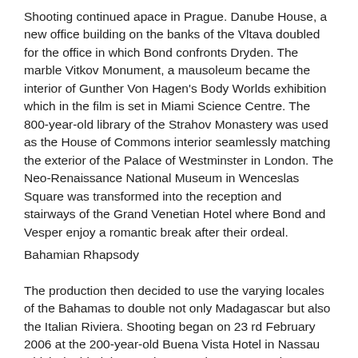Shooting continued apace in Prague. Danube House, a new office building on the banks of the Vltava doubled for the office in which Bond confronts Dryden. The marble Vitkov Monument, a mausoleum became the interior of Gunther Von Hagen's Body Worlds exhibition which in the film is set in Miami Science Centre. The 800-year-old library of the Strahov Monastery was used as the House of Commons interior seamlessly matching the exterior of the Palace of Westminster in London. The Neo-Renaissance National Museum in Wenceslas Square was transformed into the reception and stairways of the Grand Venetian Hotel where Bond and Vesper enjoy a romantic break after their ordeal.
Bahamian Rhapsody
The production then decided to use the varying locales of the Bahamas to double not only Madagascar but also the Italian Riviera. Shooting began on 23 rd February 2006 at the 200-year-old Buena Vista Hotel in Nassau which doubled the Nambutan embassy on Madagascar. Bond's romance on the Italian Riviera was filmed off the coast at Lyford Cay, Nassau. Peter Lamont converted a disused motel into a Madagascan shanty town where Bond is introduced at observing a snake and mongoose fight. An abandoned hotel complex, now a Royal Bahamian Air Force base, at Coral Harbour, New Providence Island became the building site...